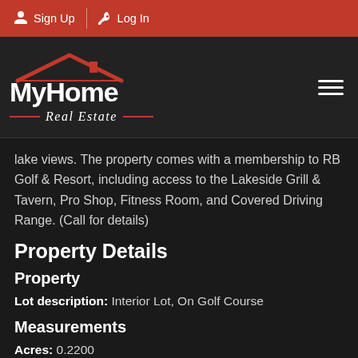Sign Up  Log In
[Figure (logo): MyHome Real Estate logo with red rooftop and decorative lines]
lake views. The property comes with a membership to RB Golf & Resort, including access to the Lakeside Grill & Tavern, Pro Shop, Fitness Room, and Covered Driving Range. (Call for details)
Property Details
Property
Lot description: Interior Lot, On Golf Course
Measurements
Acres: 0.2200